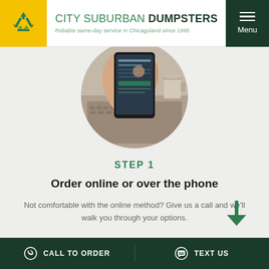CITY SUBURBAN DUMPSTERS — Reliable same-day service in Chicagoland since 1995
[Figure (photo): Circular cropped photo of hands holding a smartphone, tapping on screen, with laptop and coffee cup in background]
STEP 1
Order online or over the phone
Not comfortable with the online method? Give us a call and we'll walk you through your options.
CALL TO ORDER   TEXT US